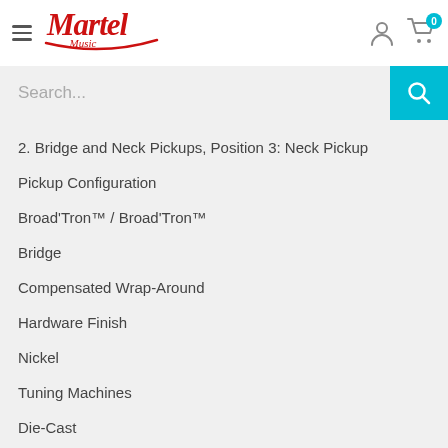[Figure (logo): Martel Music logo in red script font with swoosh underline]
Search...
2. Bridge and Neck Pickups, Position 3: Neck Pickup
Pickup Configuration
Broad'Tron™ / Broad'Tron™
Bridge
Compensated Wrap-Around
Hardware Finish
Nickel
Tuning Machines
Die-Cast
Pickguard
1-Ply Tortoiseshell
Control Knobs
Black Vintage-Style